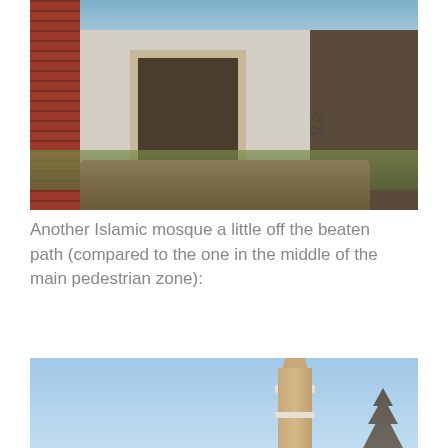[Figure (photo): Photo of a ruined, abandoned building with graffiti on white-washed walls, exposed brick on the left side, broken windows, rubble and dry grass in the foreground, and a partly cloudy sky above.]
Another Islamic mosque a little off the beaten path (compared to the one in the middle of the main pedestrian zone):
[Figure (photo): Photo of an Islamic mosque minaret against a clear blue sky. The minaret has a decorative zigzag pattern and two balconies. Bare tree branches are visible on the right edge.]